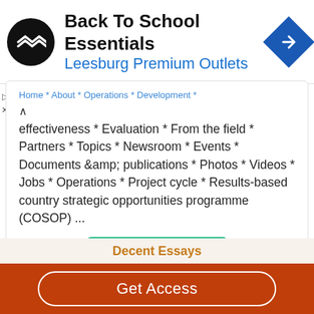[Figure (screenshot): Advertisement banner for Back To School Essentials at Leesburg Premium Outlets with logo and navigation icon]
Home * About * Operations * Development * effectiveness * Evaluation * From the field * Partners * Topics * Newsroom * Events * Documents &amp; publications * Photos * Videos * Jobs * Operations * Project cycle * Results-based country strategic opportunities programme (COSOP) ...
Read More
Decent Essays
Get Access